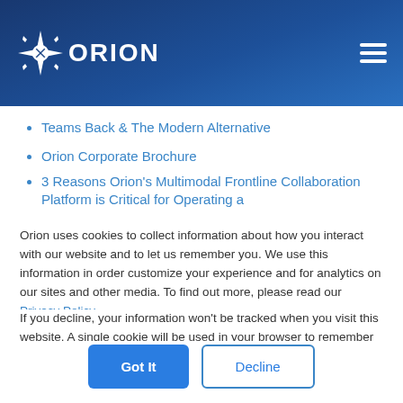ORION
Teams Back & The Modern Alternative
Orion Corporate Brochure
3 Reasons Orion's Multimodal Frontline Collaboration Platform is Critical for Operating a
Orion uses cookies to collect information about how you interact with our website and to let us remember you. We use this information in order customize your experience and for analytics on our sites and other media. To find out more, please read our Privacy Policy.
If you decline, your information won't be tracked when you visit this website. A single cookie will be used in your browser to remember your preference not to be tracked.